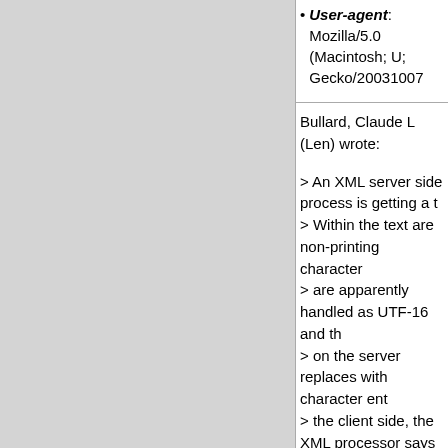User-agent: Mozilla/5.0 (Macintosh; U; Gecko/20031007
Bullard, Claude L (Len) wrote:
> An XML server side process is getting a t
> Within the text are non-printing character
> are apparently handled as UTF-16 and th
> on the server replaces with character ent
> the client side, the XML processor says th
> legal characters and is apparently treating
> as UTF-8.  What is the best way to handl
Well, if you know the encoding of the paste
you can either declare in the XML declarati
something else, or just turn 'em all into num
the potential problem of illegal non-XML ch
have to be prepared to deal with that.
Of course, if you *don't* know the encoding
you're basically hosed.  -Tim